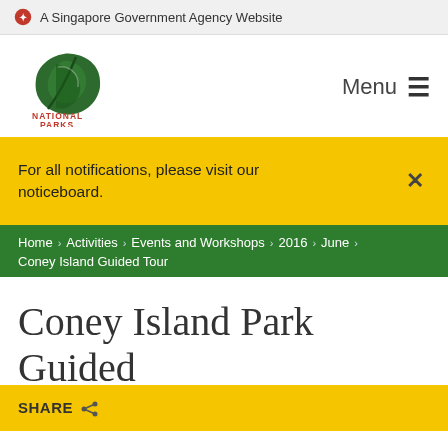A Singapore Government Agency Website
[Figure (logo): National Parks Board (NParks) logo — green leaf with NATIONAL PARKS text in red]
For all notifications, please visit our noticeboard.
Home › Activities › Events and Workshops › 2016 › June › Coney Island Guided Tour
Coney Island Park Guided Tour June 2016